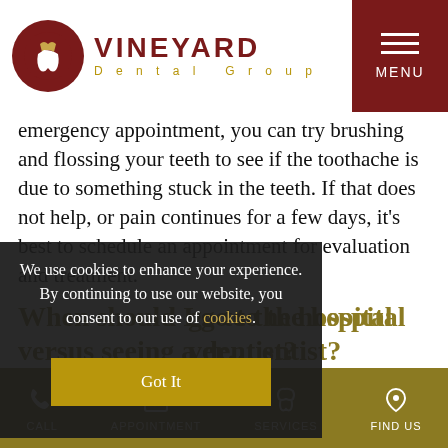VINEYARD Dental Group — MENU
emergency appointment, you can try brushing and flossing your teeth to see if the toothache is due to something stuck in the teeth. If that does not help, or pain continues for a few days, it’s best to schedule an appointment for evaluation and treatment.
When should I go to the hospital versus seeing a dentist?
If you experience any sort of traumatic injury to the face or head such as dislocation, abrasions that won’t stop bleeding, broken jaw or loss of consciousness, you should visit the local emergency room right away instead of
We use cookies to enhance your experience. By continuing to use our website, you consent to our use of cookies. Got It
CALL  APPOINTMENT  SERVICES  FIND US